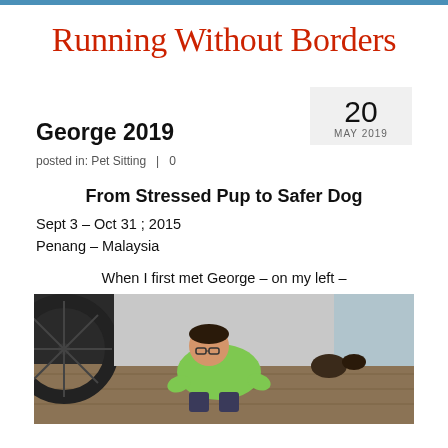Running Without Borders
George 2019
posted in: Pet Sitting  |  0
From Stressed Pup to Safer Dog
Sept 3 – Oct 31 ; 2015
Penang – Malaysia
When I first met George – on my left –
[Figure (photo): Person in green shirt crouching on a floor near a bicycle wheel and pottery]